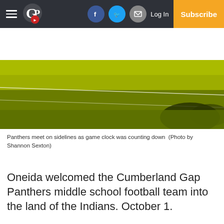CP | Log In | Subscribe
[Figure (photo): Football field grass viewed from sideline, green turf with white yard lines visible]
Panthers meet on sidelines as game clock was counting down  (Photo by Shannon Sexton)
Oneida welcomed the Cumberland Gap Panthers middle school football team into the land of the Indians. October 1.